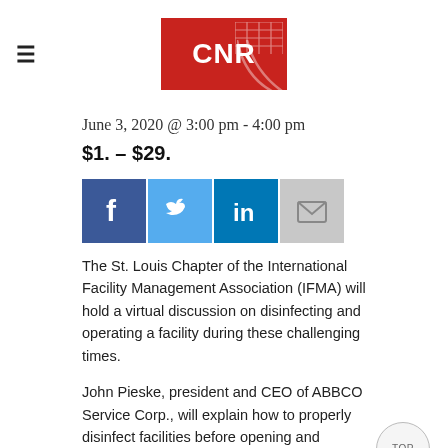CNR logo and hamburger menu
June 3, 2020 @ 3:00 pm - 4:00 pm
$1. – $29.
[Figure (infographic): Social media share buttons: Facebook, Twitter, LinkedIn, Email]
The St. Louis Chapter of the International Facility Management Association (IFMA) will hold a virtual discussion on disinfecting and operating a facility during these challenging times.
John Pieske, president and CEO of ABBCO Service Corp., will explain how to properly disinfect facilities before opening and ongoing cleaning solutions to better ensure the health and safety of employees and